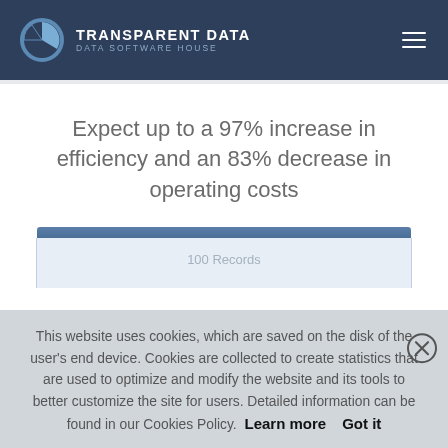TRANSPARENT DATA — DATA SOFTWARE HOUSE
Expect up to a 97% increase in efficiency and an 83% decrease in operating costs
This website uses cookies, which are saved on the disk of the user's end device. Cookies are collected to create statistics that are used to optimize and modify the website and its tools to better customize the site for users. Detailed information can be found in our Cookies Policy. Learn more  Got it